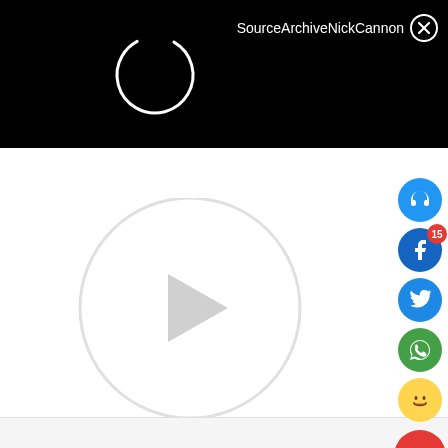[Figure (screenshot): Black video player bar at top with loading spinner and title 'SourceArchiveNickCannon' and close button]
ADVERTISEMENT
[Figure (screenshot): Video player with circular play button overlay on white background]
[Figure (infographic): Vertical column of social media share icons: headphones, Facebook (badge 15), Twitter, WhatsApp, laughing emoji, red comment/feedback buttons]